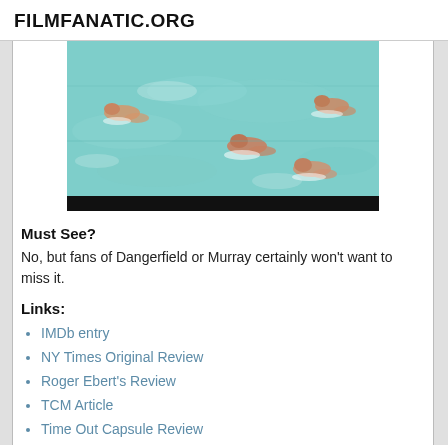FILMFANATIC.ORG
[Figure (photo): Aerial view of swimmers in a light blue/teal pool, several swimmers visible from above doing freestyle strokes, with splashing water. A black video progress bar is visible at the bottom of the image.]
Must See?
No, but fans of Dangerfield or Murray certainly won't want to miss it.
Links:
IMDb entry
NY Times Original Review
Roger Ebert's Review
TCM Article
Time Out Capsule Review